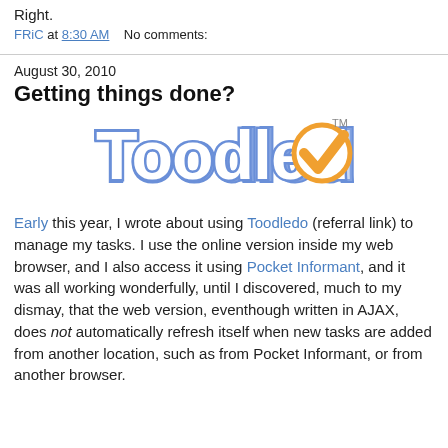Right.
FRiC at 8:30 AM    No comments:
August 30, 2010
Getting things done?
[Figure (logo): Toodledo logo — stylized blue outlined text 'Toodledo' with an orange checkmark replacing the final letter 'o', and a small TM mark.]
Early this year, I wrote about using Toodledo (referral link) to manage my tasks. I use the online version inside my web browser, and I also access it using Pocket Informant, and it was all working wonderfully, until I discovered, much to my dismay, that the web version, eventhough written in AJAX, does not automatically refresh itself when new tasks are added from another location, such as from Pocket Informant, or from another browser.